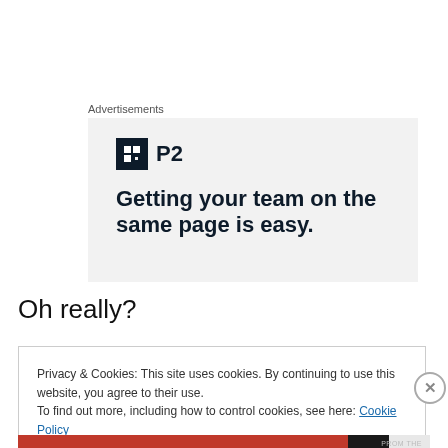Advertisements
[Figure (illustration): Advertisement banner with P2 logo and text 'Getting your team on the same page is easy.']
Oh really?
Privacy & Cookies: This site uses cookies. By continuing to use this website, you agree to their use.
To find out more, including how to control cookies, see here: Cookie Policy